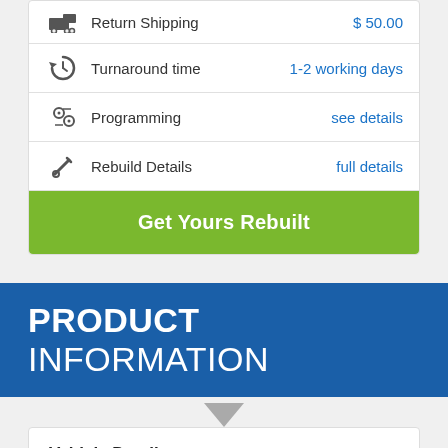|  | Label | Value |
| --- | --- | --- |
| [truck icon] | Return Shipping | $ 50.00 |
| [turnaround icon] | Turnaround time | 1-2 working days |
| [programming icon] | Programming | see details |
| [rebuild icon] | Rebuild Details | full details |
Get Yours Rebuilt
PRODUCT INFORMATION
Vehicle Details:
Make > Audi
Model > A5